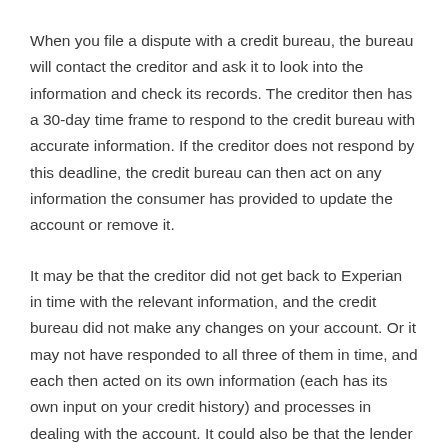When you file a dispute with a credit bureau, the bureau will contact the creditor and ask it to look into the information and check its records. The creditor then has a 30-day time frame to respond to the credit bureau with accurate information. If the creditor does not respond by this deadline, the credit bureau can then act on any information the consumer has provided to update the account or remove it.
It may be that the creditor did not get back to Experian in time with the relevant information, and the credit bureau did not make any changes on your account. Or it may not have responded to all three of them in time, and each then acted on its own information (each has its own input on your credit history) and processes in dealing with the account. It could also be that the lender did not provide